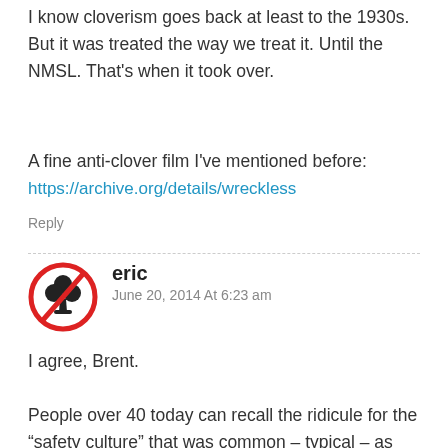I know cloverism goes back at least to the 1930s. But it was treated the way we treat it. Until the NMSL. That's when it took over.
A fine anti-clover film I've mentioned before:
https://archive.org/details/wreckless
Reply
[Figure (illustration): Red circle with a diagonal line through a black clover/club symbol — anti-clover avatar icon]
eric
June 20, 2014 At 6:23 am
I agree, Brent.
People over 40 today can recall the ridicule for the “safety culture” that was common – typical – as recently as the 1970s. It began to tip during the ‘80s, as the “mom culture” became dominant.
No one will ever land on the Moon again.